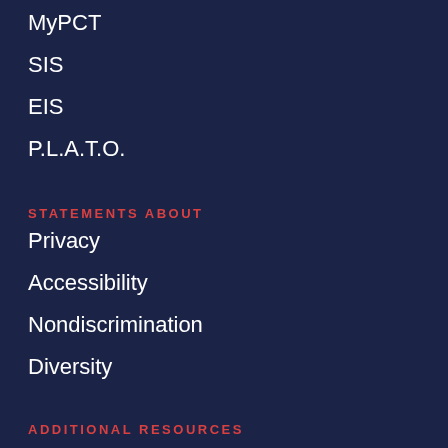MyPCT
SIS
EIS
P.L.A.T.O.
STATEMENTS ABOUT
Privacy
Accessibility
Nondiscrimination
Diversity
ADDITIONAL RESOURCES
Human Resources
Public Relations & Marketing
Consumer Information
View as Email